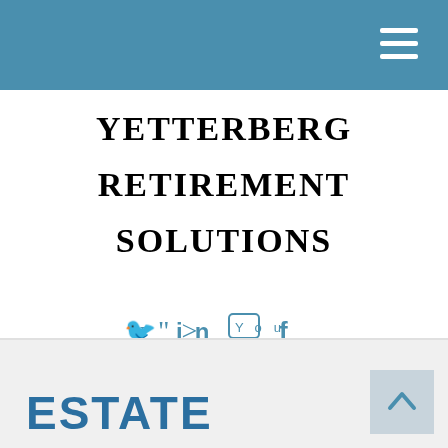Yetterberg Retirement Solutions — navigation header
YETTERBERG RETIREMENT SOLUTIONS
[Figure (infographic): Social media icons: Twitter, LinkedIn, YouTube, Facebook in teal/blue color]
(210) 495-3711
ESTATE